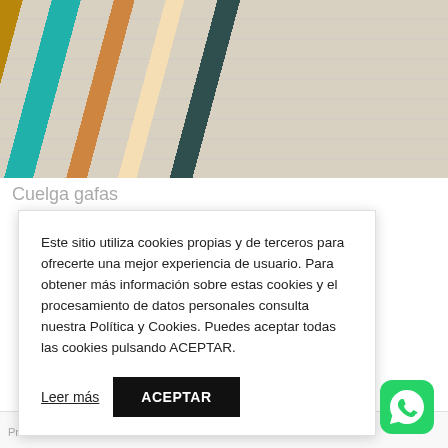[Figure (photo): Close-up photo of colorful braided cords or chains in yellow/gold, teal/turquoise, amber/orange, cream/beige, and dark gray/black colors laid diagonally on a hexagonal mesh background.]
Cuelga gafas
Este sitio utiliza cookies propias y de terceros para ofrecerte una mejor experiencia de usuario. Para obtener más información sobre estas cookies y el procesamiento de datos personales consulta nuestra Política y Cookies. Puedes aceptar todas las cookies pulsando ACEPTAR.
Leer más
ACEPTAR
[Figure (logo): WhatsApp green icon in bottom right corner]